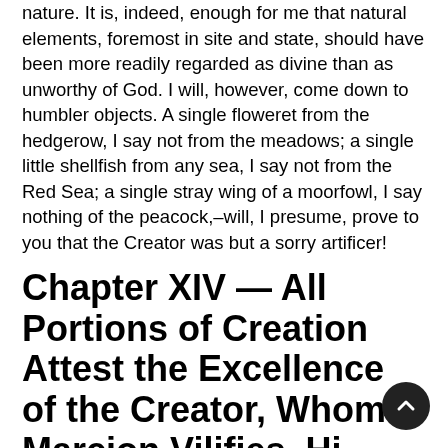nature. It is, indeed, enough for me that natural elements, foremost in site and state, should have been more readily regarded as divine than as unworthy of God. I will, however, come down to humbler objects. A single floweret from the hedgerow, I say not from the meadows; a single little shellfish from any sea, I say not from the Red Sea; a single stray wing of a moorfowl, I say nothing of the peacock,–will, I presume, prove to you that the Creator was but a sorry artificer!
Chapter XIV — All Portions of Creation Attest the Excellence of the Creator, Whom Marcion Vilifies. His